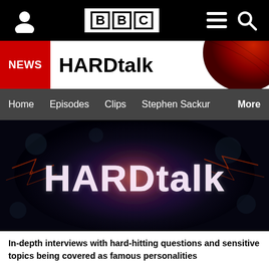BBC HARDtalk
NEWS HARDtalk
Home Episodes Clips Stephen Sackur More
[Figure (screenshot): HARDtalk show title card with dark blue background, lightning effects, and glowing 'HARDtalk' text logo]
In-depth interviews with hard-hitting questions and sensitive topics being covered as famous personalities from all walks of life talk about the big and burning issues.